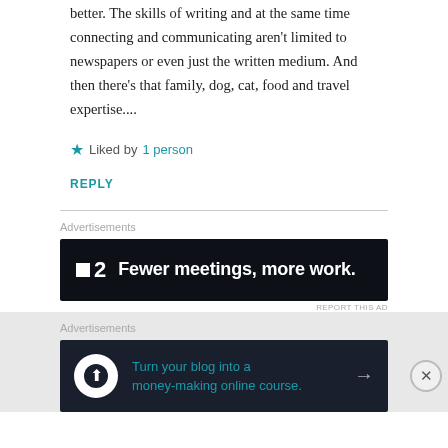better. The skills of writing and at the same time connecting and communicating aren't limited to newspapers or even just the written medium. And then there's that family, dog, cat, food and travel expertise....
★ Liked by 1 person
REPLY
Advertisements
[Figure (other): Advertisement banner: dark background with logo '■2' and text 'Fewer meetings, more work.']
REPORT THIS AD
Advertisements
[Figure (other): Advertisement banner: dark background with circular icon, teal text 'Turn your blog into a money-making online course.' and arrow]